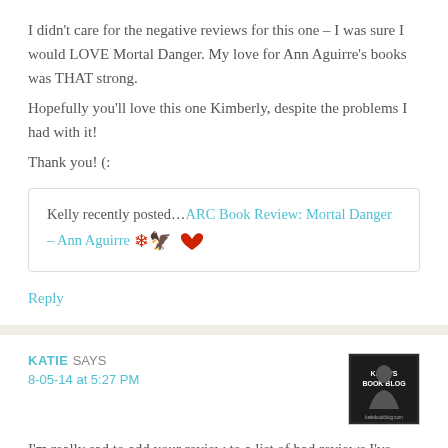I didn't care for the negative reviews for this one – I was sure I would LOVE Mortal Danger. My love for Ann Aguirre's books was THAT strong.
Hopefully you'll love this one Kimberly, despite the problems I had with it!
Thank you! (:
Kelly recently posted…ARC Book Review: Mortal Danger – Ann Aguirre 🦅
Reply
KATIE SAYS
8-05-14 at 5:27 PM
I'm really sad to add your review to a list of bad reviews I've read for this book. I have an ARC on my shelf and I had